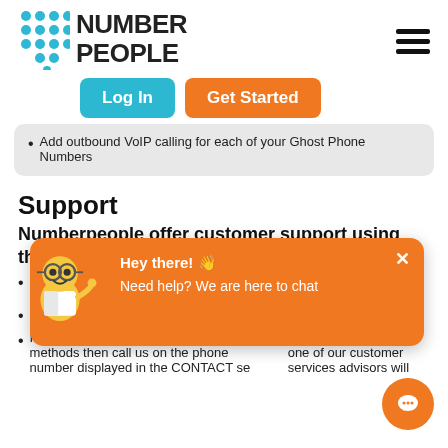[Figure (logo): Number People logo with teal dot grid and bold uppercase text]
[Figure (other): Hamburger menu icon (three horizontal bars)]
[Figure (other): Log In button (teal) and Get Started button (orange)]
Add outbound VoIP calling for each of your Ghost Phone Numbers
Support
Numberpeople offer customer support using the following methods
Online support ticketing system - click on the SUPPORT button on our website
Live Chat - click on the chat icon on our website or portal
If you cannot access either of these methods then call us on the phone number displayed in the CONTACT section of our website and one of our customer services advisors will
[Figure (other): Chat popup overlay with mascot character, orange background, 'Hey there! Need help? We are here to chat' message]
[Figure (other): Orange circular chat icon bottom right]